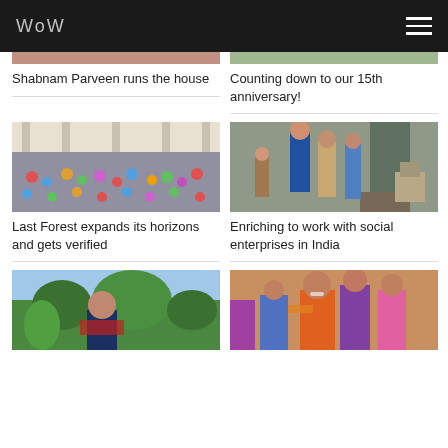WoW
Shabnam Parveen runs the house
Counting down to our 15th anniversary!
[Figure (photo): Large group of people seated and standing in front of a building outdoors]
[Figure (photo): People including a tall person in blue standing in what appears to be a room or office setting in India]
Last Forest expands its horizons and gets verified
Enriching to work with social enterprises in India
[Figure (photo): Woman smiling in a lush green outdoor setting]
[Figure (photo): Group of women in colorful saris smiling at the camera]